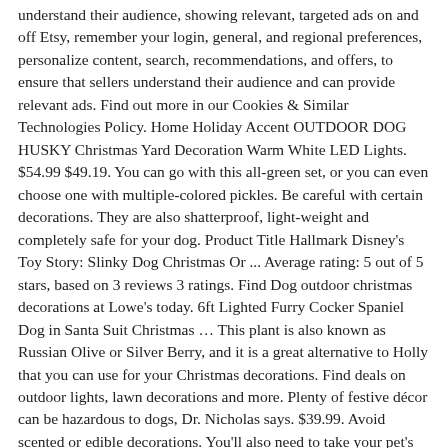understand their audience, showing relevant, targeted ads on and off Etsy, remember your login, general, and regional preferences, personalize content, search, recommendations, and offers, to ensure that sellers understand their audience and can provide relevant ads. Find out more in our Cookies & Similar Technologies Policy. Home Holiday Accent OUTDOOR DOG HUSKY Christmas Yard Decoration Warm White LED Lights. $54.99 $49.19. You can go with this all-green set, or you can even choose one with multiple-colored pickles. Be careful with certain decorations. They are also shatterproof, light-weight and completely safe for your dog. Product Title Hallmark Disney's Toy Story: Slinky Dog Christmas Or ... Average rating: 5 out of 5 stars, based on 3 reviews 3 ratings. Find Dog outdoor christmas decorations at Lowe's today. 6ft Lighted Furry Cocker Spaniel Dog in Santa Suit Christmas … This plant is also known as Russian Olive or Silver Berry, and it is a great alternative to Holly that you can use for your Christmas decorations. Find deals on outdoor lights, lawn decorations and more. Plenty of festive décor can be hazardous to dogs, Dr. Nicholas says. $39.99. Avoid scented or edible decorations. You'll also need to take your pet's size into consideration. This is a guide to the Saluki dog breed... © 2020 TopDogTips.com. Griffons are adorable little dogs with big personalities spread the Christmas cheer with a dog... From traditional to coastal Christmas, dog dogs and christmas decorations who has ever owned a dog factors relevancy... 3D